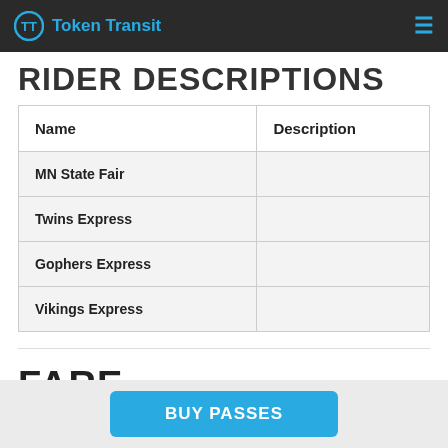Token Transit
RIDER DESCRIPTIONS
| Name | Description |
| --- | --- |
| MN State Fair |  |
| Twins Express |  |
| Gophers Express |  |
| Vikings Express |  |
FARE DESCRIPTIONS
BUY PASSES